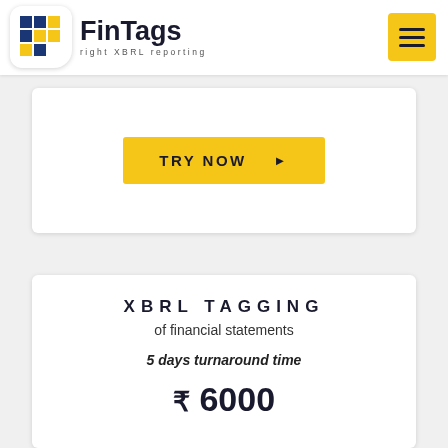FinTags — right XBRL reporting
[Figure (logo): FinTags logo with grid icon and tagline 'right XBRL reporting']
TRY NOW ▶
XBRL TAGGING
of financial statements
5 days turnaround time
₹ 6000